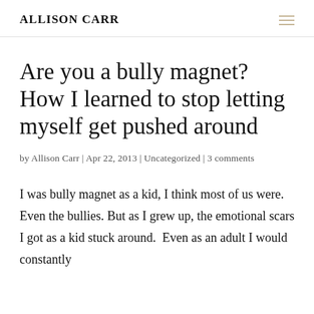Allison Carr
Are you a bully magnet? How I learned to stop letting myself get pushed around
by Allison Carr | Apr 22, 2013 | Uncategorized | 3 comments
I was bully magnet as a kid, I think most of us were.  Even the bullies. But as I grew up, the emotional scars I got as a kid stuck around.  Even as an adult I would constantly